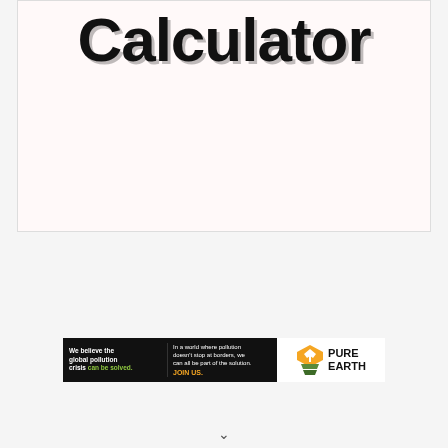Calculator
[Figure (infographic): Pure Earth advertisement banner: black left section reading 'We believe the global pollution crisis can be solved.' with logo on white right section.]